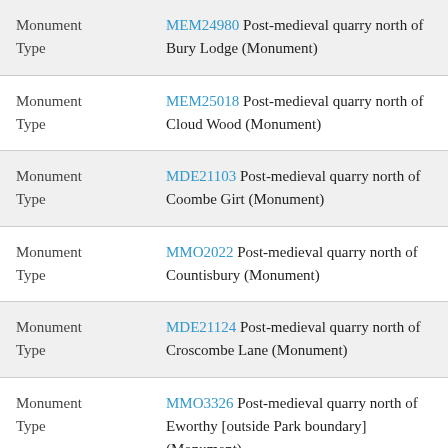| Type | Record |
| --- | --- |
| Monument Type | MEM24980 Post-medieval quarry north of Bury Lodge (Monument) |
| Monument Type | MEM25018 Post-medieval quarry north of Cloud Wood (Monument) |
| Monument Type | MDE21103 Post-medieval quarry north of Coombe Girt (Monument) |
| Monument Type | MMO2022 Post-medieval quarry north of Countisbury (Monument) |
| Monument Type | MDE21124 Post-medieval quarry north of Croscombe Lane (Monument) |
| Monument Type | MMO3326 Post-medieval quarry north of Eworthy [outside Park boundary] (Monument) |